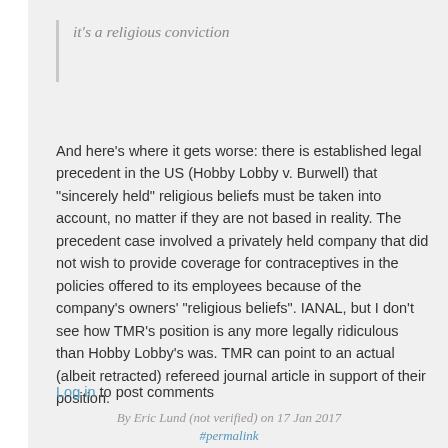it's a religious conviction
And here's where it gets worse: there is established legal precedent in the US (Hobby Lobby v. Burwell) that "sincerely held" religious beliefs must be taken into account, no matter if they are not based in reality. The precedent case involved a privately held company that did not wish to provide coverage for contraceptives in the policies offered to its employees because of the company's owners' "religious beliefs". IANAL, but I don't see how TMR's position is any more legally ridiculous than Hobby Lobby's was. TMR can point to an actual (albeit retracted) refereed journal article in support of their position.
Log in to post comments
By Eric Lund (not verified) on 17 Jan 2017
#permalink